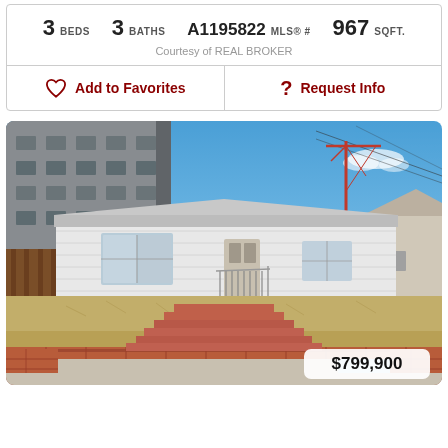3 BEDS   3 BATHS   A1195822 MLS® #   967 SQFT.
Courtesy of REAL BROKER
Add to Favorites
Request Info
[Figure (photo): Exterior photo of a single-storey white house with brick staircase leading up a grassy slope to the front door. A large modern building is visible to the left. A construction crane is visible in the background against a blue sky. Price badge shows $799,900.]